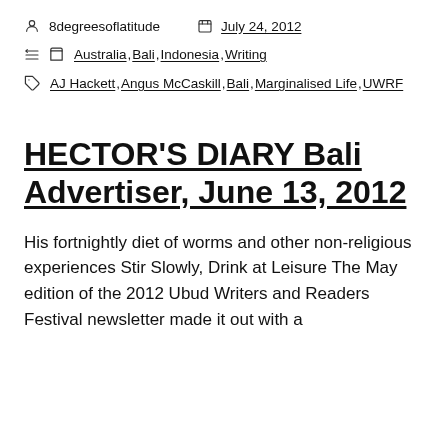8degreesoflatitude   July 24, 2012
Australia, Bali, Indonesia, Writing
AJ Hackett, Angus McCaskill, Bali, Marginalised Life, UWRF
HECTOR'S DIARY Bali Advertiser, June 13, 2012
His fortnightly diet of worms and other non-religious experiences Stir Slowly, Drink at Leisure The May edition of the 2012 Ubud Writers and Readers Festival newsletter made it out with a